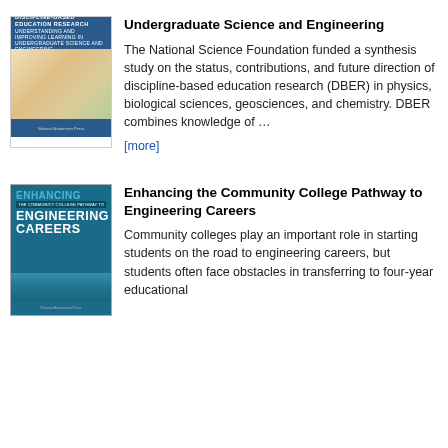[Figure (illustration): Book cover: Discipline-Based Education Research - Understanding and Improving Learning in Undergraduate Science and Engineering]
Undergraduate Science and Engineering
The National Science Foundation funded a synthesis study on the status, contributions, and future direction of discipline-based education research (DBER) in physics, biological sciences, geosciences, and chemistry. DBER combines knowledge of …
[more]
[Figure (illustration): Book cover: Enhancing the Community College Pathway to Engineering Careers]
Enhancing the Community College Pathway to Engineering Careers
Community colleges play an important role in starting students on the road to engineering careers, but students often face obstacles in transferring to four-year educational